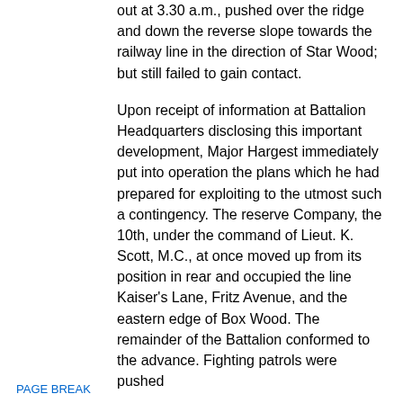out at 3.30 a.m., pushed over the ridge and down the reverse slope towards the railway line in the direction of Star Wood; but still failed to gain contact.
Upon receipt of information at Battalion Headquarters disclosing this important development, Major Hargest immediately put into operation the plans which he had prepared for exploiting to the utmost such a contingency. The reserve Company, the 10th, under the command of Lieut. K. Scott, M.C., at once moved up from its position in rear and occupied the line Kaiser's Lane, Fritz Avenue, and the eastern edge of Box Wood. The remainder of the Battalion conformed to the advance. Fighting patrols were pushed
PAGE BREAK